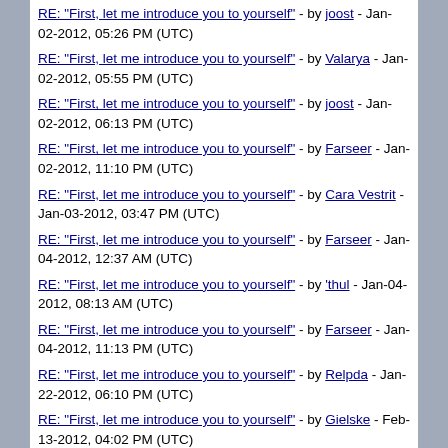RE: "First, let me introduce you to yourself" - by joost - Jan-02-2012, 05:26 PM (UTC)
RE: "First, let me introduce you to yourself" - by Valarya - Jan-02-2012, 05:55 PM (UTC)
RE: "First, let me introduce you to yourself" - by joost - Jan-02-2012, 06:13 PM (UTC)
RE: "First, let me introduce you to yourself" - by Farseer - Jan-02-2012, 11:10 PM (UTC)
RE: "First, let me introduce you to yourself" - by Cara Vestrit - Jan-03-2012, 03:47 PM (UTC)
RE: "First, let me introduce you to yourself" - by Farseer - Jan-04-2012, 12:37 AM (UTC)
RE: "First, let me introduce you to yourself" - by 'thul - Jan-04-2012, 08:13 AM (UTC)
RE: "First, let me introduce you to yourself" - by Farseer - Jan-04-2012, 11:13 PM (UTC)
RE: "First, let me introduce you to yourself" - by Relpda - Jan-22-2012, 06:10 PM (UTC)
RE: "First, let me introduce you to yourself" - by Gielske - Feb-13-2012, 04:02 PM (UTC)
RE: "First, let me introduce you to yourself" - by Valarya - Feb-13-2012, 04:30 PM (UTC)
RE: "First, let me introduce you to yourself" - by